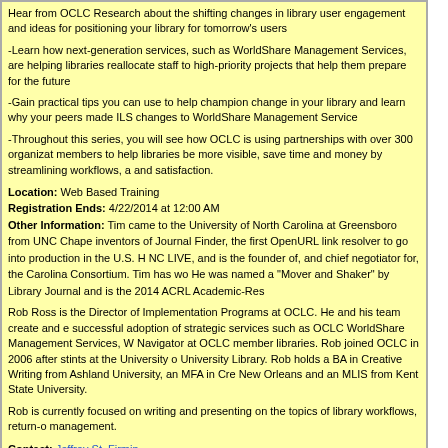Hear from OCLC Research about the shifting changes in library user engagement and ideas for positioning your library for tomorrow's users
-Learn how next-generation services, such as WorldShare Management Services, are helping libraries reallocate staff to high-priority projects that help them prepare for the future
-Gain practical tips you can use to help champion change in your library and learn why your peers made ILS changes to WorldShare Management Service
-Throughout this series, you will see how OCLC is using partnerships with over 300 organizations members to help libraries be more visible, save time and money by streamlining workflows, and satisfaction.
Location: Web Based Training
Registration Ends: 4/22/2014 at 12:00 AM
Other Information: Tim came to the University of North Carolina at Greensboro from UNC Chapel inventors of Journal Finder, the first OpenURL link resolver to go into production in the U.S. NC LIVE, and is the founder of, and chief negotiator for, the Carolina Consortium. Tim has He was named a "Mover and Shaker" by Library Journal and is the 2014 ACRL Academic-Res
Rob Ross is the Director of Implementation Programs at OCLC. He and his team create and ensure successful adoption of strategic services such as OCLC WorldShare Management Services, Navigator at OCLC member libraries. Rob joined OCLC in 2006 after stints at the University University Library. Rob holds a BA in Creative Writing from Ashland University, an MFA in Cre New Orleans and an MLIS from Kent State University.
Rob is currently focused on writing and presenting on the topics of library workflows, return-on management.
Contact: Jeffrey St. Firmin
Contact Number: 239) 313-6338
Presenter: Tim Bucknall and Rob Ross
Status: Waiting List
Sorry, this event has already occurred. Please register for another event.